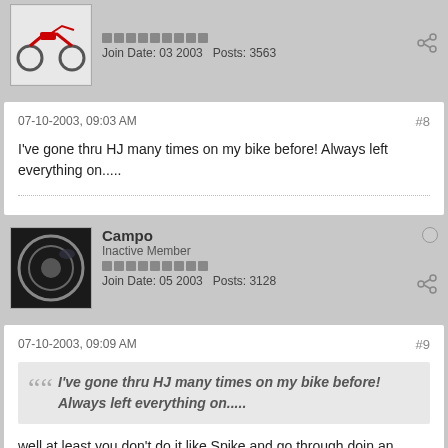Join Date: 03 2003   Posts: 3563
07-10-2003, 09:03 AM   #8
I've gone thru HJ many times on my bike before! Always left everything on.....
Campo
Inactive Member
Join Date: 05 2003   Posts: 3128
07-10-2003, 09:09 AM   #9
I've gone thru HJ many times on my bike before! Always left everything on.....
well at least you don't do it like Spike and go through doin an endo!